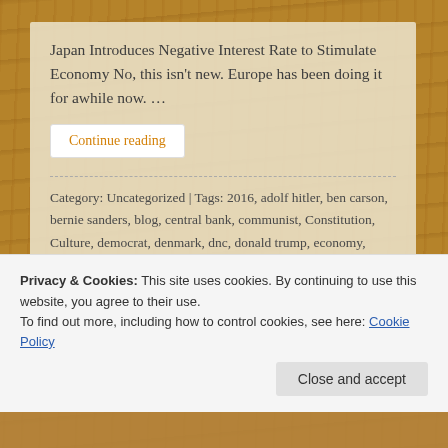Japan Introduces Negative Interest Rate to Stimulate Economy No, this isn't new. Europe has been doing it for awhile now. …
Continue reading
Category: Uncategorized | Tags: 2016, adolf hitler, ben carson, bernie sanders, blog, central bank, communist, Constitution, Culture, democrat, denmark, dnc, donald trump, economy, education, Europe, fascist, fdr, Federal Reserve, gop, Government, hillary clinton, hippocratic, hypocrites oath, japamn, japan, joseph stalin, Leadership, liberta, Media, Monroe, Motivation, negative, interest, rate...
Privacy & Cookies: This site uses cookies. By continuing to use this website, you agree to their use.
To find out more, including how to control cookies, see here: Cookie Policy
Close and accept